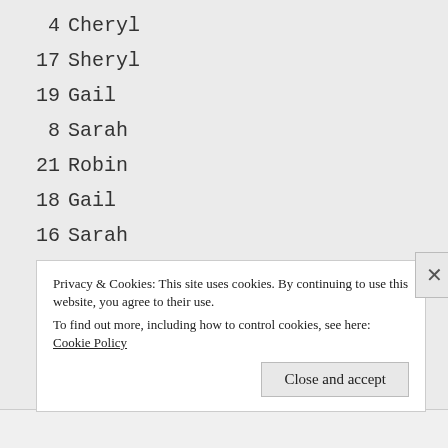4   Cheryl
17  Sheryl
19  Gail
8   Sarah
21  Robin
18  Gail
16  Sarah
3   Addie
15  Cecilia
1   Sheryl
14  Darla
20  Cheryl
Privacy & Cookies: This site uses cookies. By continuing to use this website, you agree to their use.
To find out more, including how to control cookies, see here: Cookie Policy
Close and accept